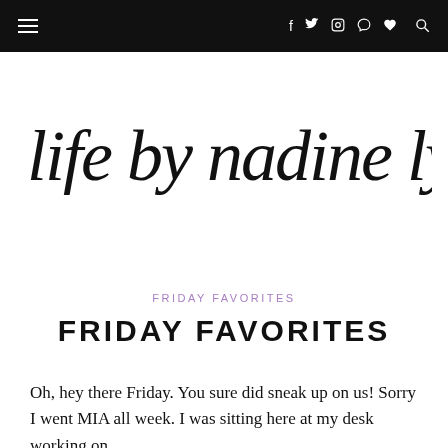≡   f  twitter  instagram  pinterest  heart  search
[Figure (logo): Handwritten script logo reading 'life by nadine lynn' in black brush lettering]
FRIDAY FAVORITES
FRIDAY FAVORITES
Oh, hey there Friday. You sure did sneak up on us! Sorry I went MIA all week. I was sitting here at my desk working on